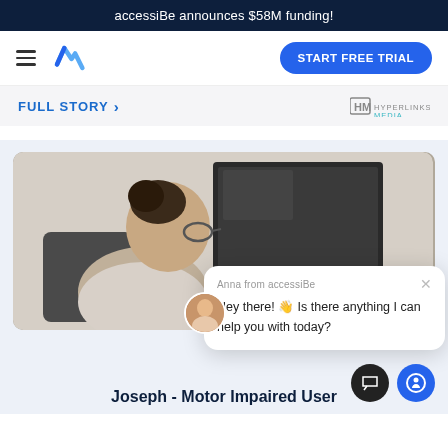accessiBe announces $58M funding!
[Figure (logo): accessiBe logo - blue checkmark style logo and hamburger menu icon]
START FREE TRIAL
FULL STORY >
[Figure (logo): HM HYPERLINKS MEDIA logo]
[Figure (photo): Person with dark hair in a bun, wearing glasses, seated at a desk with monitors in the background]
Anna from accessiBe
Hey there! 👋 Is there anything I can help you with today?
Joseph - Motor Impaired User